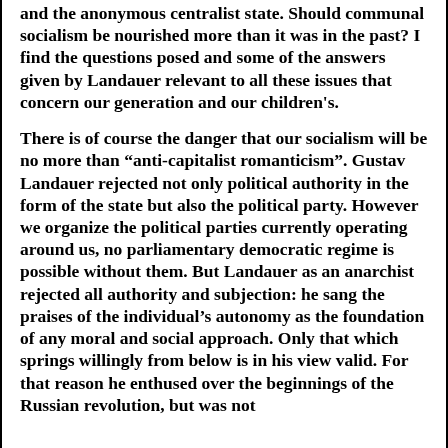and the anonymous centralist state. Should communal socialism be nourished more than it was in the past? I find the questions posed and some of the answers given by Landauer relevant to all these issues that concern our generation and our children's.
There is of course the danger that our socialism will be no more than “anti-capitalist romanticism”. Gustav Landauer rejected not only political authority in the form of the state but also the political party. However we organize the political parties currently operating around us, no parliamentary democratic regime is possible without them. But Landauer as an anarchist rejected all authority and subjection: he sang the praises of the individual’s autonomy as the foundation of any moral and social approach. Only that which springs willingly from below is in his view valid. For that reason he enthused over the beginnings of the Russian revolution, but was not